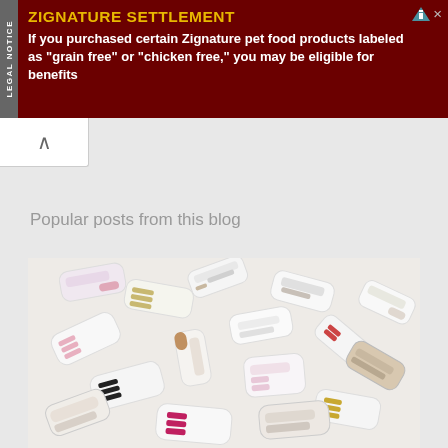[Figure (infographic): Legal notice advertisement banner with dark red background. Title: 'ZIGNATURE SETTLEMENT' in yellow bold text. Body text in white: 'If you purchased certain Zignature pet food products labeled as "grain free" or "chicken free," you may be eligible for benefits'. Side label 'LEGAL NOTICE' in vertical white text on grey strip.]
Popular posts from this blog
[Figure (photo): Overhead flat-lay photo of many white Adidas Superstar sneakers arranged in a circular/heart pattern on a white marble surface. Sneakers have various colored stripes: pink, black, gold, red/magenta, metallic. Various styles including high-tops and low-tops.]